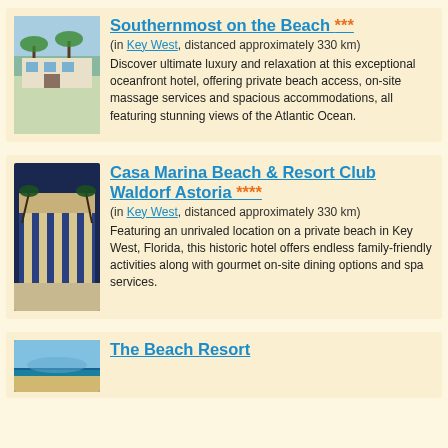[Figure (photo): Hotel exterior with palm trees and blue sky]
Southernmost on the Beach ***
(in Key West, distanced approximately 330 km)
Discover ultimate luxury and relaxation at this exceptional oceanfront hotel, offering private beach access, on-site massage services and spacious accommodations, all featuring stunning views of the Atlantic Ocean.
[Figure (photo): Resort courtyard with palm trees, pool walkway at night]
Casa Marina Beach & Resort Club Waldorf Astoria ****
(in Key West, distanced approximately 330 km)
Featuring an unrivaled location on a private beach in Key West, Florida, this historic hotel offers endless family-friendly activities along with gourmet on-site dining options and spa services.
[Figure (photo): Beach resort with blue water]
The Beach Resort